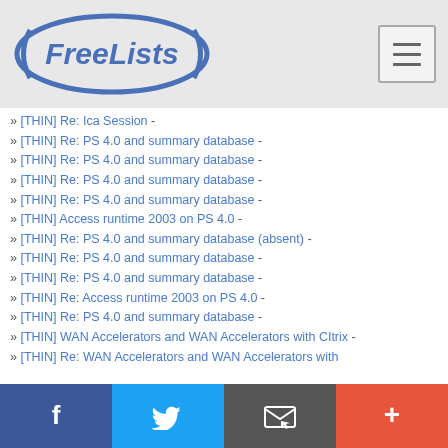FreeLists
» [THIN] Re: Ica Session -
» [THIN] Re: PS 4.0 and summary database -
» [THIN] Re: PS 4.0 and summary database -
» [THIN] Re: PS 4.0 and summary database -
» [THIN] Re: PS 4.0 and summary database -
» [THIN] Access runtime 2003 on PS 4.0 -
» [THIN] Re: PS 4.0 and summary database (absent) -
» [THIN] Re: PS 4.0 and summary database -
» [THIN] Re: PS 4.0 and summary database -
» [THIN] Re: Access runtime 2003 on PS 4.0 -
» [THIN] Re: PS 4.0 and summary database -
» [THIN] WAN Accelerators and WAN Accelerators with CItrix -
» [THIN] Re: WAN Accelerators and WAN Accelerators with -
f  (twitter)  (email)  +